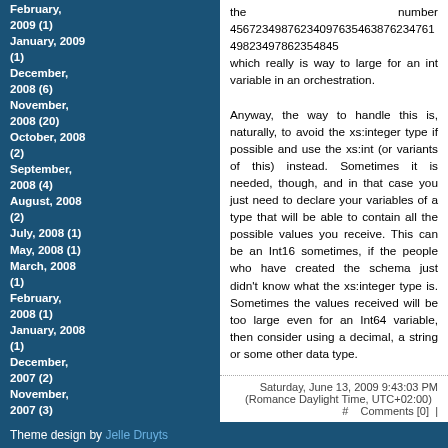February, 2009 (1)
January, 2009 (1)
December, 2008 (6)
November, 2008 (20)
October, 2008 (2)
September, 2008 (4)
August, 2008 (2)
July, 2008 (1)
May, 2008 (1)
March, 2008 (1)
February, 2008 (1)
January, 2008 (1)
December, 2007 (2)
November, 2007 (3)
October, 2007
the number 45672349876234097635463876234761498234978623548 45 which really is way to large for an int variable in an orchestration. Anyway, the way to handle this is, naturally, to avoid the xs:integer type if possible and use the xs:int (or variants of this) instead. Sometimes it is needed, though, and in that case you just need to declare your variables of a type that will be able to contain all the possible values you receive. This can be an Int16 sometimes, if the people who have created the schema just didn't know what the xs:integer type is. Sometimes the values received will be too large even for an Int64 variable, then consider using a decimal, a string or some other data type.

--
eliasen
Saturday, June 13, 2009 9:43:03 PM (Romance Daylight Time, UTC+02:00)  #  Comments [0]  |
Theme design by Jelle Druyts